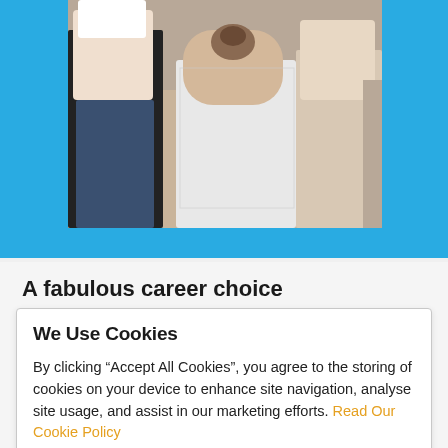[Figure (photo): A group of people standing together, partially visible, against a light background. The image is cropped and set within a blue banner.]
A fabulous career choice
Practical Action is powered by some of the smartest minds in the development world, backed up by skilled professionals in every area of our
We Use Cookies

By clicking “Accept All Cookies”, you agree to the storing of cookies on your device to enhance site navigation, analyse site usage, and assist in our marketing efforts. Read Our Cookie Policy